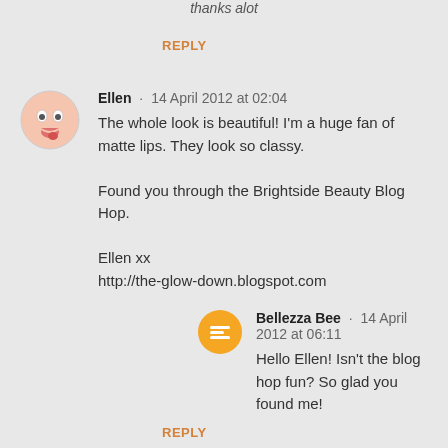thanks alot
REPLY
Ellen · 14 April 2012 at 02:04
The whole look is beautiful! I'm a huge fan of matte lips. They look so classy.

Found you through the Brightside Beauty Blog Hop.

Ellen xx
http://the-glow-down.blogspot.com
Bellezza Bee · 14 April 2012 at 06:11
Hello Ellen! Isn't the blog hop fun? So glad you found me!
REPLY